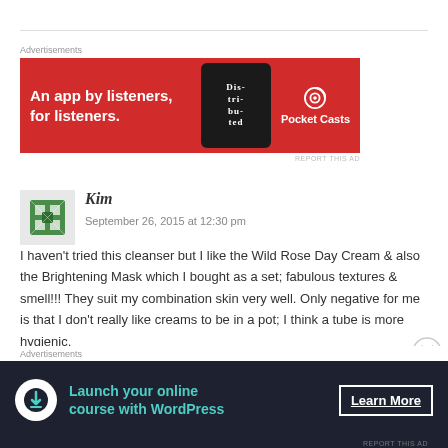[Figure (infographic): Red advertisement banner for Pocket Casts: 'An app by listeners, for listeners.' with phone image and Pocket Casts logo]
Kim
September 26, 2015 at 12:30 pm
I haven't tried this cleanser but I like the Wild Rose Day Cream & also the Brightening Mask which I bought as a set; fabulous textures & smell!!! They suit my combination skin very well. Only negative for me is that I don't really like creams to be in a pot; I think a tube is more hygienic.
On the topic of Greek brands, have you tried any Apivita
[Figure (infographic): Dark advertisement banner: 'Launch your online course with WordPress' with Learn More button]